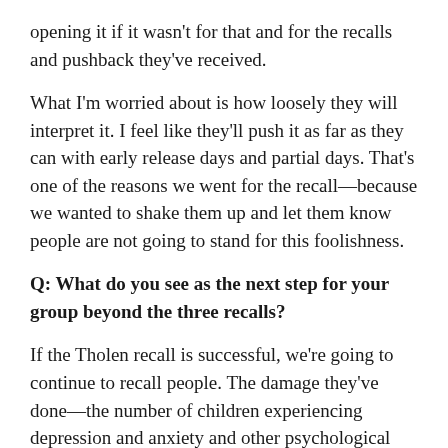opening it if it wasn't for that and for the recalls and pushback they've received.
What I'm worried about is how loosely they will interpret it. I feel like they'll push it as far as they can with early release days and partial days. That's one of the reasons we went for the recall—because we wanted to shake them up and let them know people are not going to stand for this foolishness.
Q: What do you see as the next step for your group beyond the three recalls?
If the Tholen recall is successful, we're going to continue to recall people. The damage they've done—the number of children experiencing depression and anxiety and other psychological issues—we can't forget this. We can't let go of what they did.